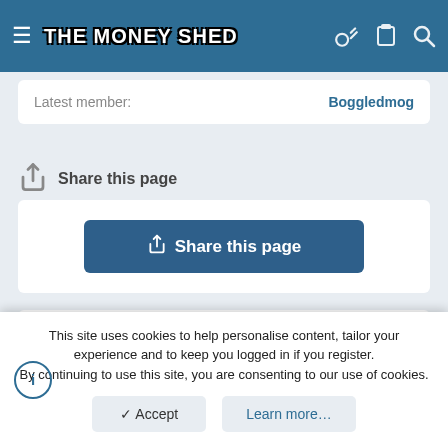THE MONEY SHED
Latest member: Boggledmog
Share this page
Share this page
Contact us  Terms and rules  Privacy policy  Help  Home
Community platform by XenForo® © 2010-2022 XenForo Ltd. | Style and add-ons by ThemeHouse | Media embeds via s9e/MediaSites
This site uses cookies to help personalise content, tailor your experience and to keep you logged in if you register.
By continuing to use this site, you are consenting to our use of cookies.